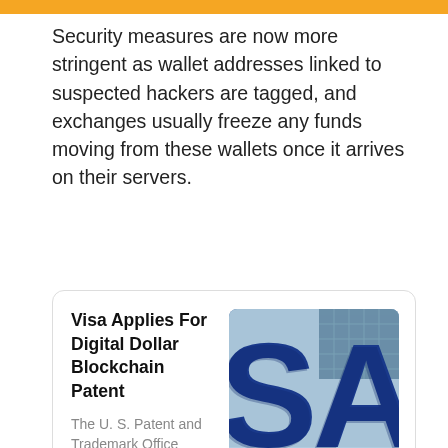Security measures are now more stringent as wallet addresses linked to suspected hackers are tagged, and exchanges usually freeze any funds moving from these wallets once it arrives on their servers.
[Figure (other): News article card with title 'Visa Applies For Digital Dollar Blockchain Patent', excerpt text 'The U. S. Patent and Trademark Office (USPTO) published today that Visa ha...', source 'Forbes • Jason Brett', and a photo of the Visa logo letters in blue 3D style.]
Visa has filed a patent application to create digital currency on a blockchain with the US Patent and Trademark Office. The patent, filed in November 2018 but published just this week, is for a digital currency recorded on a blockchain and controlled by a central